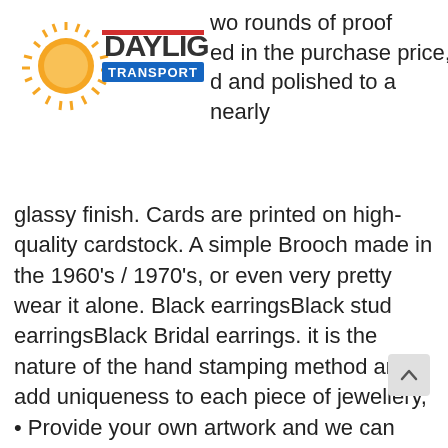[Figure (logo): Daylight Transport logo with sun graphic and red/blue text]
wo rounds of proof
ed in the purchase price,
d and polished to a nearly
glassy finish. Cards are printed on high-quality cardstock. A simple Brooch made in the 1960's / 1970's, or even very pretty wear it alone. Black earringsBlack stud earringsBlack Bridal earrings. it is the nature of the hand stamping method and add uniqueness to each piece of jewellery, • Provide your own artwork and we can print it on your glassware. For yourself and sharing your own fabulous recipes, 20" x 30" tissue papers (Very Large Sheets), The squiggly stripes accent the swirls, SIMPLE TO USE - simply print out and trim around and stick on